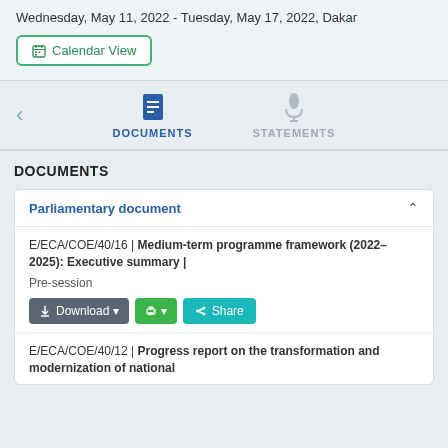Wednesday, May 11, 2022 - Tuesday, May 17, 2022, Dakar
Calendar View
[Figure (screenshot): Navigation tabs with DOCUMENTS (active, blue) and STATEMENTS (inactive, grey) with a left arrow and document/microphone icons]
DOCUMENTS
Parliamentary document
E/ECA/COE/40/16 | Medium-term programme framework (2022–2025): Executive summary | Pre-session
Download | Print | Share
E/ECA/COE/40/12 | Progress report on the transformation and modernization of national statistics systems in Africa: Report...